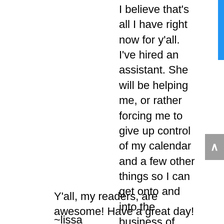I believe that's all I have right now for y'all. I've hired an assistant. She will be helping me, or rather forcing me to give up control of my calendar and a few other things so I can get onto and into the business of writing. Her name is Brandy and she's going to be an awesome change for me. Y'all want books. I want to write books. The business end of this business is time consuming and she's going to help me with that along with regular blog content, cover thoughts, etc... I'm gonna have a well-oiled or at least a well disciplined machine here if it kills me!
Y'all, my readers, are awesome! Have a great day!
~lissa